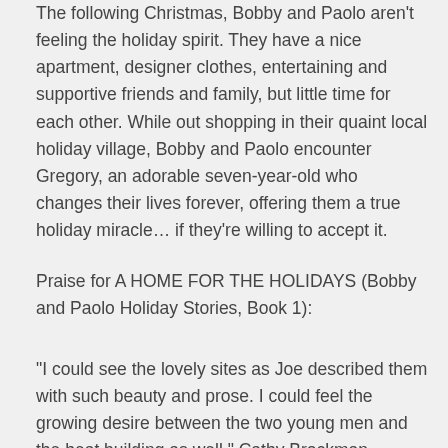The following Christmas, Bobby and Paolo aren't feeling the holiday spirit. They have a nice apartment, designer clothes, entertaining and supportive friends and family, but little time for each other. While out shopping in their quaint local holiday village, Bobby and Paolo encounter Gregory, an adorable seven-year-old who changes their lives forever, offering them a true holiday miracle... if they're willing to accept it.
Praise for A HOME FOR THE HOLIDAYS (Bobby and Paolo Holiday Stories, Book 1):
“I could see the lovely sites as Joe described them with such beauty and prose. I could feel the growing desire between the two young men and the heat building as well.” Cathy Brockman Romance